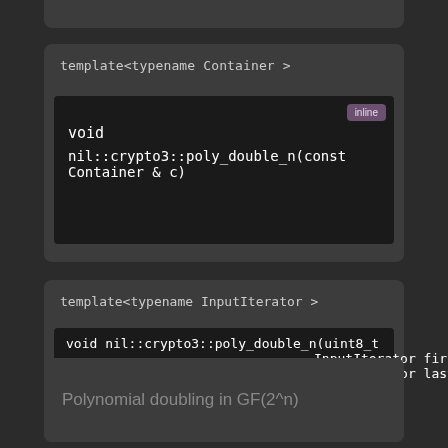template<typename Container >
void
nil::crypto3::poly_double_n(const Container & c)
inline
template<typename InputIterator >
void nil::crypto3::poly_double_n(uint8_t  out[],
                                     InputIterator first,
                                     InputIterator last
                                    )
Polynomial doubling in GF(2^n)